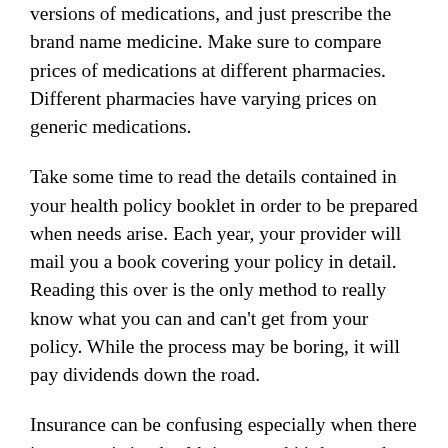versions of medications, and just prescribe the brand name medicine. Make sure to compare prices of medications at different pharmacies. Different pharmacies have varying prices on generic medications.
Take some time to read the details contained in your health policy booklet in order to be prepared when needs arise. Each year, your provider will mail you a book covering your policy in detail. Reading this over is the only method to really know what you can and can't get from your policy. While the process may be boring, it will pay dividends down the road.
Insurance can be confusing especially when there is a pre-existing health issue, and it's best to do some research prior to entering into a policy with any company. Some companies will not allow you to get coverage if you have a pre-existing condition and some will charge you a lot of money for coverage. In order to obtain the best value for your money, do your homework and research what is being offered to you